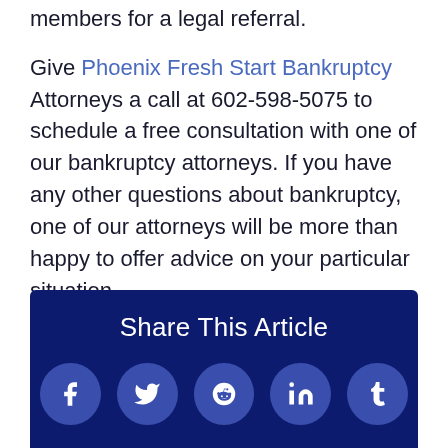members for a legal referral.
Give Phoenix Fresh Start Bankruptcy Attorneys a call at 602-598-5075 to schedule a free consultation with one of our bankruptcy attorneys. If you have any other questions about bankruptcy, one of our attorneys will be more than happy to offer advice on your particular situation.
Share This Article
[Figure (infographic): Social media share icons: Facebook, Twitter, Reddit, LinkedIn, Tumblr on dark blue background]